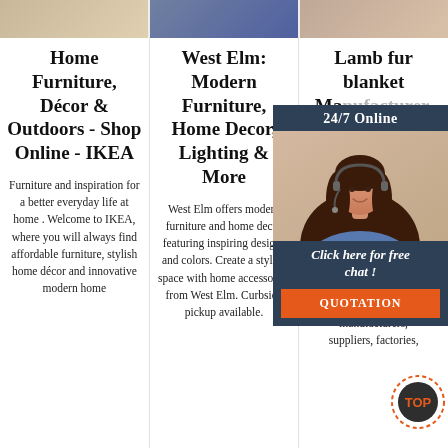[Figure (photo): Three cropped photo thumbnails at the top: a living room/bedroom scene, a dark blue/teal item, and a light-toned room]
Home Furniture, Décor & Outdoors - Shop Online - IKEA
Furniture and inspiration for a better everyday life at home . Welcome to IKEA, where you will always find affordable furniture, stylish home décor and innovative modern home
West Elm: Modern Furniture, Home Decor, Lighting & More
West Elm offers modern furniture and home decor featuring inspiring designs and colors. Create a stylish space with home accessories from West Elm. Curbside pickup available.
Lamb fur blanket Manufacturer, Supplier, China f
lamb fur blanket manufacturer & factory list, find qualified Chinese lamb fur blanket manufacturers, suppliers, factories,
[Figure (photo): 24/7 Online chat widget with a customer service representative photo, 'Click here for free chat!' text, and an orange QUOTATION button]
[Figure (logo): TOP badge/logo in orange and dark grey at bottom right]